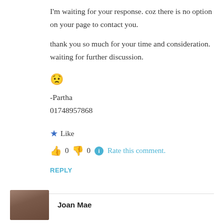I'm waiting for your response. coz there is no option on your page to contact you.
thank you so much for your time and consideration. waiting for further discussion.
😟
-Partha
01748957868
★ Like
👍 0 👎 0 ℹ Rate this comment.
REPLY
Joan Mae